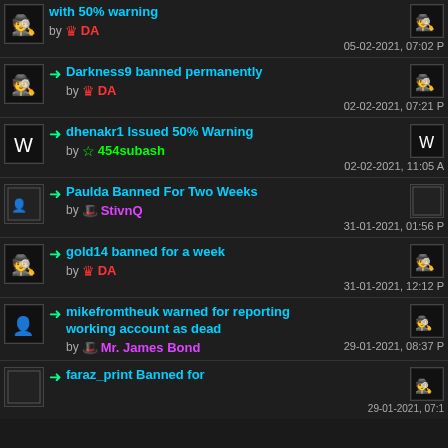TheDarkness69 warned with 50% warning by DA — 05-02-2021, 07:02
Darkness9 banned permanently by DA — 02-02-2021, 07:21
dhenakr1 Issued 50% Warning by 454subash — 02-02-2021, 11:05
Paulda Banned For Two Weeks by StivnQ — 31-01-2021, 01:56
gold14 banned for a week by DA — 31-01-2021, 12:12
mikefromtheuk warned for reporting working account as dead by Mr. James Bond — 29-01-2021, 08:37
faraz_print Banned for ...